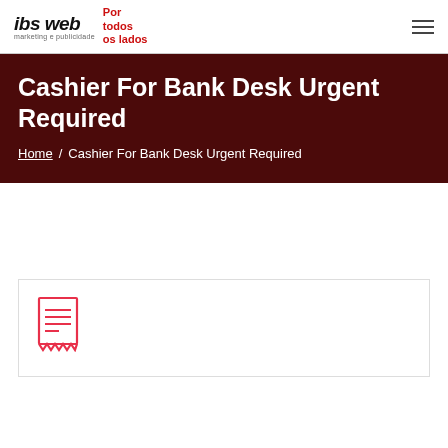ibs web marketing e publicidade | Por todos os lados
Cashier For Bank Desk Urgent Required
Home / Cashier For Bank Desk Urgent Required
[Figure (illustration): Receipt/document icon in red/pink color]